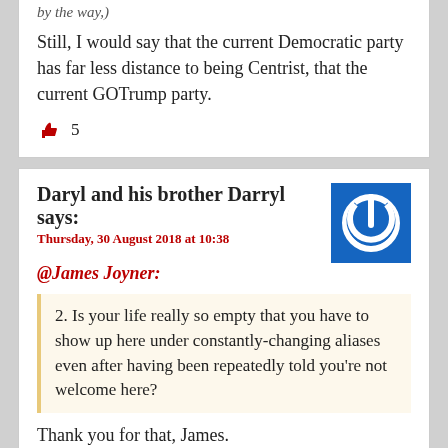Still, I would say that the current Democratic party has far less distance to being Centrist, that the current GOTrump party.
👍 5
Daryl and his brother Darryl says:
Thursday, 30 August 2018 at 10:38
@James Joyner:
2. Is your life really so empty that you have to show up here under constantly-changing aliases even after having been repeatedly told you're not welcome here?
Thank you for that, James.
👍 11